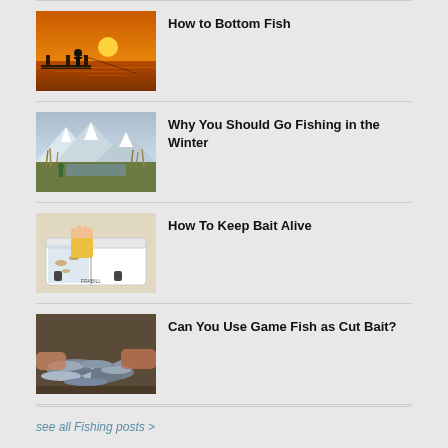[Figure (photo): Silhouette of a person fishing from a dock at sunset over water with orange sky]
How to Bottom Fish
[Figure (photo): Person fishing in a marshy wetland area with snow-capped mountains in the background]
Why You Should Go Fishing in the Winter
[Figure (photo): Hand holding bait over a white cooler/bait container with compartments]
How To Keep Bait Alive
[Figure (photo): Pile of small fish being sorted on a surface, hands visible]
Can You Use Game Fish as Cut Bait?
see all Fishing posts >